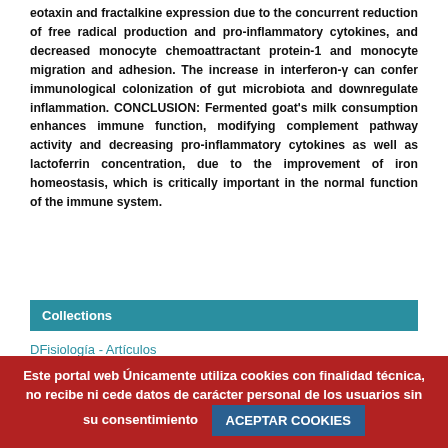eotaxin and fractalkine expression due to the concurrent reduction of free radical production and pro-inflammatory cytokines, and decreased monocyte chemoattractant protein-1 and monocyte migration and adhesion. The increase in interferon-γ can confer immunological colonization of gut microbiota and downregulate inflammation. CONCLUSION: Fermented goat's milk consumption enhances immune function, modifying complement pathway activity and decreasing pro-inflammatory cytokines as well as lactoferrin concentration, due to the improvement of iron homeostasis, which is critically important in the normal function of the immune system.
Collections
DFisiología - Artículos
[Figure (other): Creative Commons license icons: CC, attribution, non-commercial, no-derivatives]
Este portal web Únicamente utiliza cookies con finalidad técnica, no recibe ni cede datos de carácter personal de los usuarios sin su consentimiento  ACEPTAR COOKIES